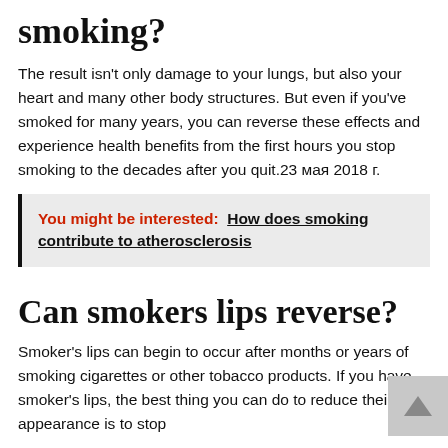smoking?
The result isn't only damage to your lungs, but also your heart and many other body structures. But even if you've smoked for many years, you can reverse these effects and experience health benefits from the first hours you stop smoking to the decades after you quit.23 мая 2018 г.
You might be interested:  How does smoking contribute to atherosclerosis
Can smokers lips reverse?
Smoker's lips can begin to occur after months or years of smoking cigarettes or other tobacco products. If you have smoker's lips, the best thing you can do to reduce their appearance is to stop